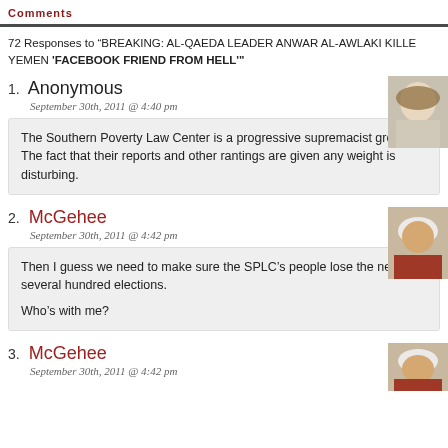Comments
72 Responses to "BREAKING: AL-QAEDA LEADER ANWAR AL-AWLAKI KILLED IN YEMEN 'FACEBOOK FRIEND FROM HELL'"
1. Anonymous
September 30th, 2011 @ 4:40 pm
The Southern Poverty Law Center is a progressive supremacist group. The fact that their reports and other rantings are given any weight is disturbing.
2. McGehee
September 30th, 2011 @ 4:42 pm
Then I guess we need to make sure the SPLC's people lose the next several hundred elections.
Who's with me?
3. McGehee
September 30th, 2011 @ 4:42 pm